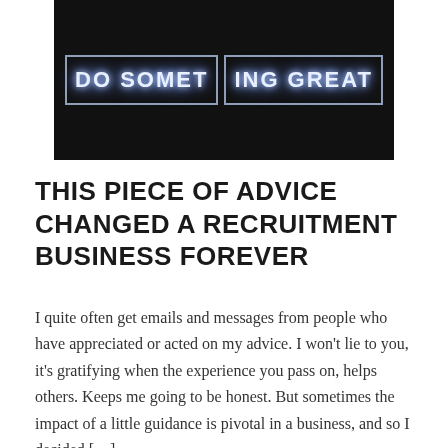[Figure (photo): A dark background photo of a neon sign reading 'DO SOMETHING GREAT' displayed in illuminated white/blue letters inside rectangular light boxes mounted on a dark wall.]
THIS PIECE OF ADVICE CHANGED A RECRUITMENT BUSINESS FOREVER
I quite often get emails and messages from people who have appreciated or acted on my advice. I won't lie to you, it's gratifying when the experience you pass on, helps others. Keeps me going to be honest. But sometimes the impact of a little guidance is pivotal in a business, and so I decided […]